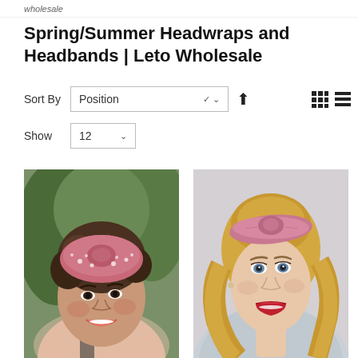wholesale
Spring/Summer Headwraps and Headbands | Leto Wholesale
Sort By  Position  ▲   Show 12
[Figure (photo): Young woman with curly hair wearing a pink polka dot turban headwrap, smiling outdoors with green plants in background]
[Figure (photo): Young blonde woman wearing a pink velvet knotted headband against a light gray background]